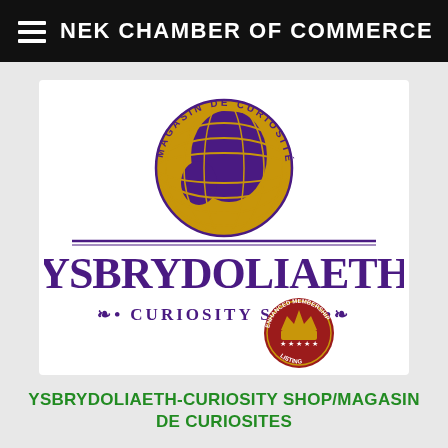NEK CHAMBER OF COMMERCE
[Figure (logo): Ysbrydoliaeth Curiosity Shop logo featuring a globe with purple continents and gold meridian lines, circular text reading MAGASIN DE CURIOSITES, the word YSBRYDOLIAETH in large purple serif letters, a horizontal divider line, text CURIOSITY SHOP with decorative flourishes, and an Enhanced Membership Listing badge (red/gold with crown and stars) overlaid in the lower right]
YSBRYDOLIAETH-CURIOSITY SHOP/MAGASIN DE CURIOSITES